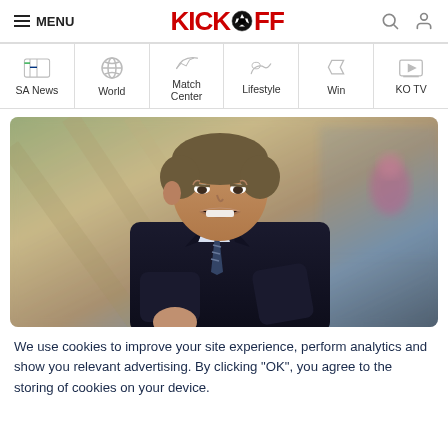MENU | KICKOFF | [search] [user]
SA News
World
Match Center
Lifestyle
Win
KO TV
[Figure (photo): A football coach shouting and gesturing passionately on the touchline, wearing a dark suit and striped tie, with stadium seating blurred in the background.]
We use cookies to improve your site experience, perform analytics and show you relevant advertising. By clicking "OK", you agree to the storing of cookies on your device.